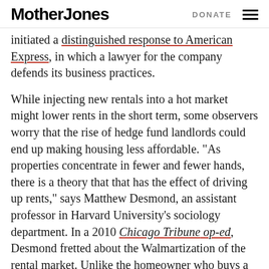Mother Jones | DONATE
initiated a distinguished response to American Express, in which a lawyer for the company defends its business practices.
While injecting new rentals into a hot market might lower rents in the short term, some observers worry that the rise of hedge fund landlords could end up making housing less affordable. “As properties concentrate in fewer and fewer hands, there is a theory that that has the effect of driving up rents,” says Matthew Desmond, an assistant professor in Harvard University’s sociology department. In a 2010 Chicago Tribune op-ed, Desmond fretted about the Walmartization of the rental market. Unlike the homeowner who buys a second property to